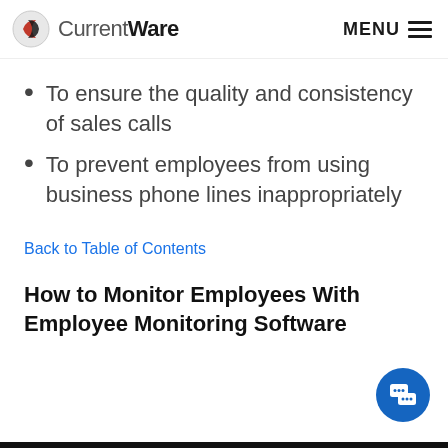CurrentWare  MENU
To ensure the quality and consistency of sales calls
To prevent employees from using business phone lines inappropriately
Back to Table of Contents
How to Monitor Employees With Employee Monitoring Software